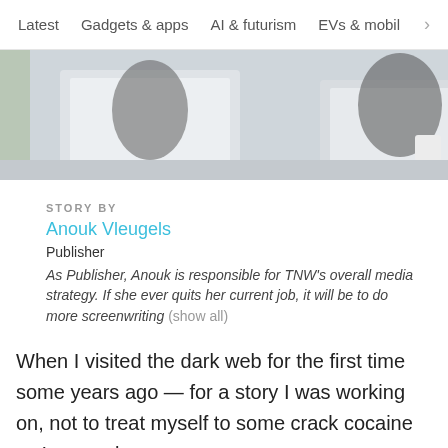Latest   Gadgets & apps   AI & futurism   EVs & mobil  >
[Figure (photo): Muted photo of two people working on laptops at a desk with a coffee cup in background]
STORY BY
Anouk Vleugels
Publisher
As Publisher, Anouk is responsible for TNW's overall media strategy. If she ever quits her current job, it will be to do more screenwriting (show all)
When I visited the dark web for the first time some years ago — for a story I was working on, not to treat myself to some crack cocaine — I remember users